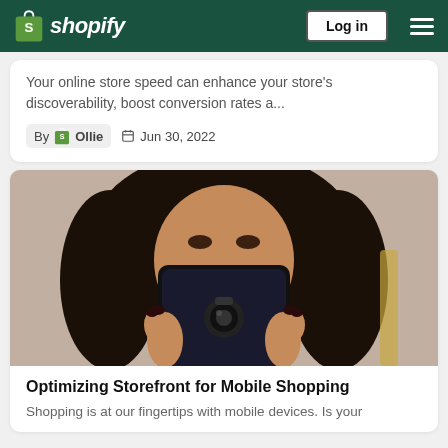Shopify — Log in
Your online store speed can enhance your store's discoverability, boost conversion rates a...
By Ollie  Jun 30, 2022
[Figure (photo): Woman with curly hair holding a smartphone up to her face, looking at the screen]
Optimizing Storefront for Mobile Shopping
Shopping is at our fingertips with mobile devices. Is your